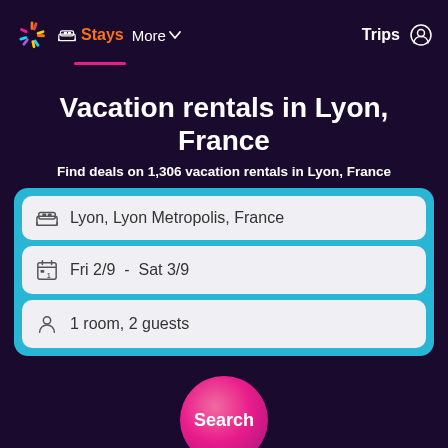Stays  More  Trips
Vacation rentals in Lyon, France
Find deals on 1,306 vacation rentals in Lyon, France
Lyon, Lyon Metropolis, France
Fri 2/9  -  Sat 3/9
1 room, 2 guests
Search